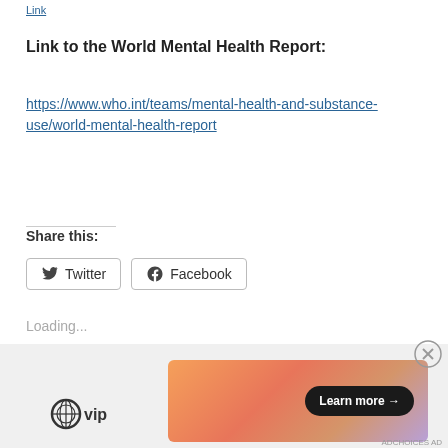Link to the World Mental Health Report:
https://www.who.int/teams/mental-health-and-substance-use/world-mental-health-report
Share this:
Twitter
Facebook
Loading...
Advertisements
[Figure (logo): WordPress VIP logo and advertisement banner with Learn more button]